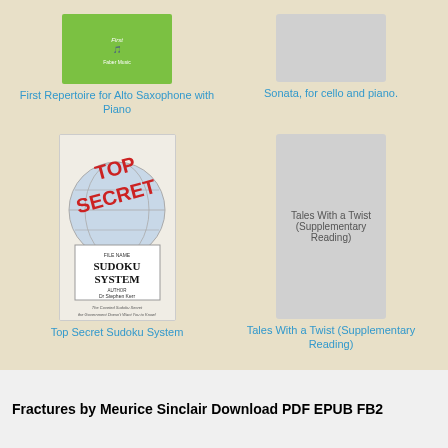[Figure (illustration): Green book cover for First Repertoire for Alto Saxophone with Piano]
First Repertoire for Alto Saxophone with Piano
[Figure (illustration): Gray placeholder cover for Sonata, for cello and piano.]
Sonata, for cello and piano.
[Figure (illustration): Book cover for Top Secret Sudoku System with red TOP SECRET stamp and sudoku system file design]
Top Secret Sudoku System
[Figure (illustration): Gray placeholder cover for Tales With a Twist (Supplementary Reading)]
Tales With a Twist (Supplementary Reading)
Fractures by Meurice Sinclair Download PDF EPUB FB2